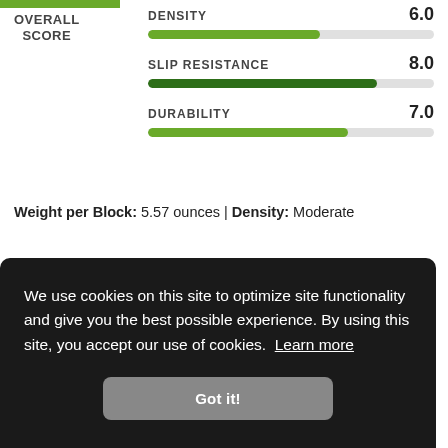OVERALL SCORE
[Figure (bar-chart): Score metrics]
Weight per Block: 5.57 ounces | Density: Moderate
REASONS TO BUY
Lightweight
We use cookies on this site to optimize site functionality and give you the best possible experience. By using this site, you accept our use of cookies. Learn more